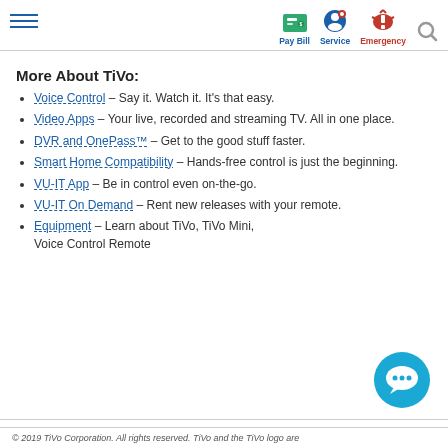Pay Bill | Service | Emergency
More About TiVo:
Voice Control – Say it. Watch it. It's that easy.
Video Apps – Your live, recorded and streaming TV. All in one place.
DVR and OnePass™ – Get to the good stuff faster.
Smart Home Compatibility – Hands-free control is just the beginning.
VU-IT App – Be in control even on-the-go.
VU-IT On Demand – Rent new releases with your remote.
Equipment – Learn about TiVo, TiVo Mini, Voice Control Remote
[Figure (illustration): Blue circular chat bubble icon with ellipsis]
© 2019 TiVo Corporation. All rights reserved. TiVo and the TiVo logo are